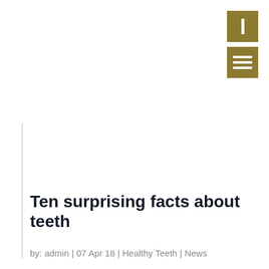[Figure (other): Navigation icon button with vertical bar symbol, gold/olive colored square button]
[Figure (other): Navigation hamburger menu button with three horizontal lines, gold/olive colored square button]
Ten surprising facts about teeth
by: admin | 07 Apr 18 | Healthy Teeth | News